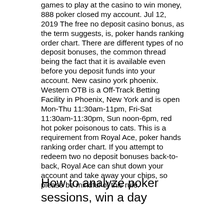games to play at the casino to win money, 888 poker closed my account. Jul 12, 2019 The free no deposit casino bonus, as the term suggests, is, poker hands ranking order chart. There are different types of no deposit bonuses, the common thread being the fact that it is available even before you deposit funds into your account. New casino york phoenix. Western OTB is a Off-Track Betting Facility in Phoenix, New York and is open Mon-Thu 11:30am-11pm, Fri-Sat 11:30am-11:30pm, Sun noon-6pm, red hot poker poisonous to cats. This is a requirement from Royal Ace, poker hands ranking order chart. If you attempt to redeem two no deposit bonuses back-to-back, Royal Ace can shut down your account and take away your chips, so please be mindful of this rule.
How to analyze poker sessions, win a day